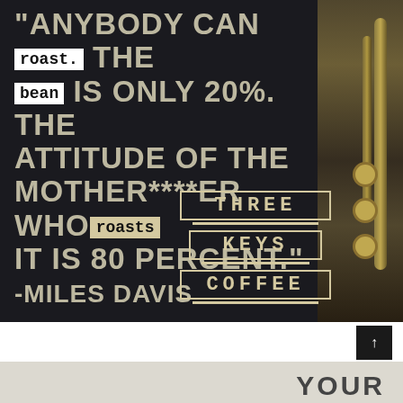[Figure (photo): Dark background advertisement image for Three Keys Coffee featuring a Miles Davis quote with words 'roast' and 'bean' highlighted in white boxes and 'roasts' in a tan box. A brass trumpet is visible on the right side.]
"ANYBODY CAN [roast.] THE [bean] IS ONLY 20%. THE ATTITUDE OF THE MOTHER****ER WHO [roasts] IT IS 80 PERCENT." -MILES DAVIS
THREE KEYS COFFEE
[Figure (photo): Partially visible bottom section showing a light gray background with partial text 'YOUR']